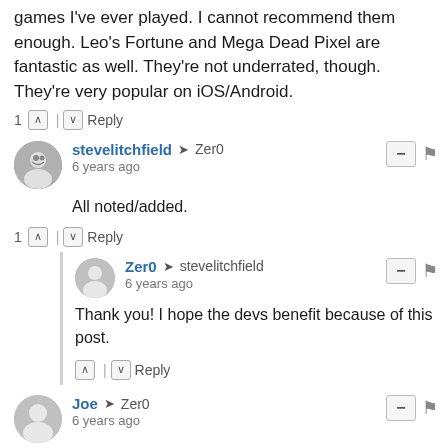games I've ever played. I cannot recommend them enough. Leo's Fortune and Mega Dead Pixel are fantastic as well. They're not underrated, though. They're very popular on iOS/Android.
1 ^ | v Reply
stevelitchfield → Zer0
6 years ago
All noted/added.
1 ^ | v Reply
Zer0 → stevelitchfield
6 years ago
Thank you! I hope the devs benefit because of this post.
^ | v Reply
Joe → Zer0
6 years ago
I thoroughly enjoyed Skulls of the Shogun as well - brilliant game that I played a lot in the Windows Phone 7/8 days.

Leo's Fortune is one I'm also really enjoying at the moment... It was on sale recently and thought it would be a good one for the kids, but haven't stopped playing it myself! :)